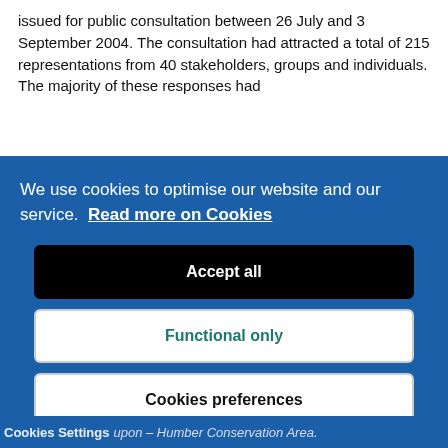issued for public consultation between 26 July and 3 September 2004. The consultation had attracted a total of 215 representations from 40 stakeholders, groups and individuals. The majority of these responses had
We use cookies to optimise our website and our service.  Read more on Cookies
Accept all
Functional only
Cookies preferences
Cookies Settings upon – Humber Conservation Area.